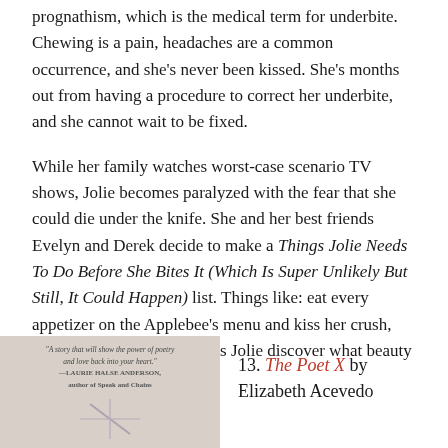prognathism, which is the medical term for underbite. Chewing is a pain, headaches are a common occurrence, and she's never been kissed. She's months out from having a procedure to correct her underbite, and she cannot wait to be fixed.
While her family watches worst-case scenario TV shows, Jolie becomes paralyzed with the fear that she could die under the knife. She and her best friends Evelyn and Derek decide to make a Things Jolie Needs To Do Before She Bites It (Which Is Super Unlikely But Still, It Could Happen) list. Things like: eat every appetizer on the Applebee's menu and kiss her crush, Noah Reed. Their plan helps Jolie discover what beauty truly means to her. ”
[Figure (photo): Book cover of The Poet X, with a light pinkish/grey background and small text blurb at the top reading 'A story that will show the power of poetry and love back into your heart.' — LAURIE HALSE ANDERSON, author of Speak and Chains]
13. The Poet X by Elizabeth Acevedo